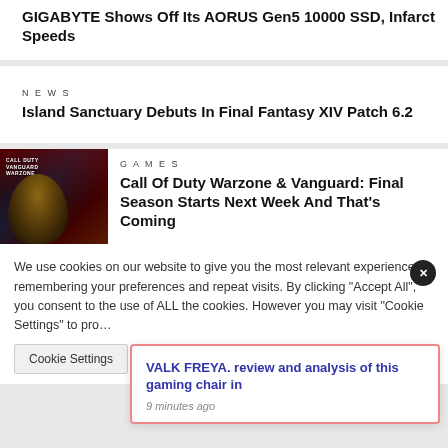GIGABYTE Shows Off Its AORUS Gen5 10000 SSD, Infarct Speeds
NEWS
Island Sanctuary Debuts In Final Fantasy XIV Patch 6.2
GAMES
Call Of Duty Warzone & Vanguard: Final Season Starts Next Week And That's Coming
We use cookies on our website to give you the most relevant experience by remembering your preferences and repeat visits. By clicking "Accept All", you consent to the use of ALL the cookies. However you may visit "Cookie Settings" to pro…
Cookie Settings
VALK FREYA. review and analysis of this gaming chair in
9 minutes ago